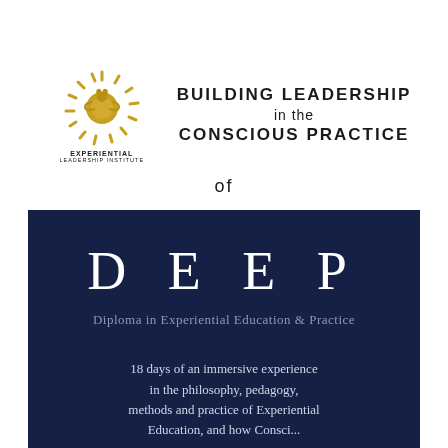[Figure (logo): Experiential Leadership Institute logo — golden sunburst hand design with text 'EXPERIENTIAL LEADERSHIP INSTITUTE' below]
BUILDING LEADERSHIP in the CONSCIOUS PRACTICE
of
DEEP
Diploma in Experiential Education & Practice
18 days of an immersive experience in the philosophy, pedagogy, methods and practice of Experiential Education, and how Conscious...